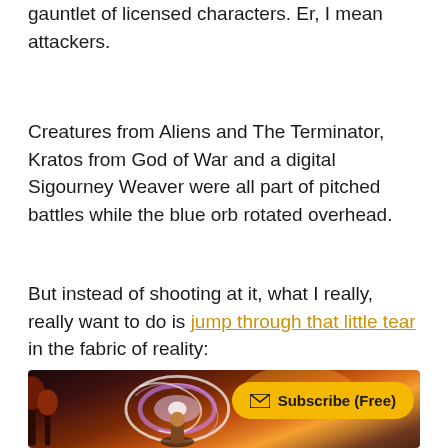gauntlet of licensed characters. Er, I mean attackers.
Creatures from Aliens and The Terminator, Kratos from God of War and a digital Sigourney Weaver were all part of pitched battles while the blue orb rotated overhead.
But instead of shooting at it, what I really, really want to do is jump through that little tear in the fabric of reality:
[Figure (screenshot): Screenshot of a video game scene showing a colorful fantasy/action landscape with autumn-colored trees, a glowing purple and white swirl/tear effect in the center, warm orange sky in the background. A yellow rounded button overlay reads 'Subscribe (Free)' with an envelope icon.]